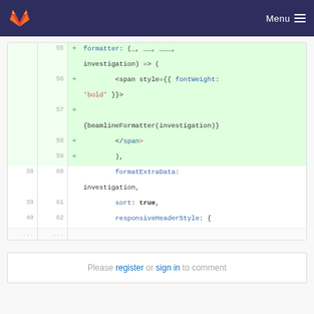GitLab logo | Menu
[Figure (screenshot): Code diff view showing lines 55-62 with added lines (55-59) highlighted in green and unchanged lines (38/60, 39/61, 40/62) below]
Please register or sign in to comment